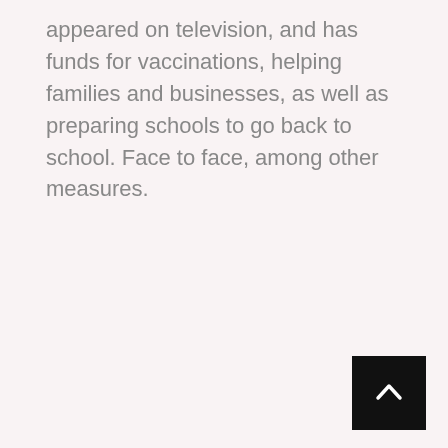appeared on television, and has funds for vaccinations, helping families and businesses, as well as preparing schools to go back to school. Face to face, among other measures.
[Figure (other): Back to top button — black square with white upward chevron arrow]